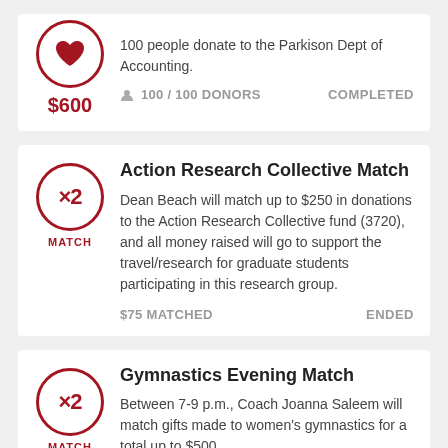100 people donate to the Parkison Dept of Accounting.
100 / 100 DONORS   COMPLETED
Action Research Collective Match
Dean Beach will match up to $250 in donations to the Action Research Collective fund (3720), and all money raised will go to support the travel/research for graduate students participating in this research group.
$75 MATCHED   ENDED
Gymnastics Evening Match
Between 7-9 p.m., Coach Joanna Saleem will match gifts made to women's gymnastics for a total up to $500.